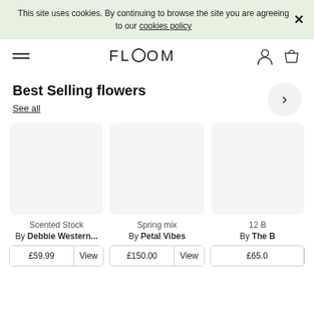This site uses cookies. By continuing to browse the site you are agreeing to our cookies policy
FLOOM
Best Selling flowers
See all
Scented Stock
By Debbie Western...
£59.99 | View
Spring mix
By Petal Vibes
£150.00 | View
12 B
By The B
£65.0